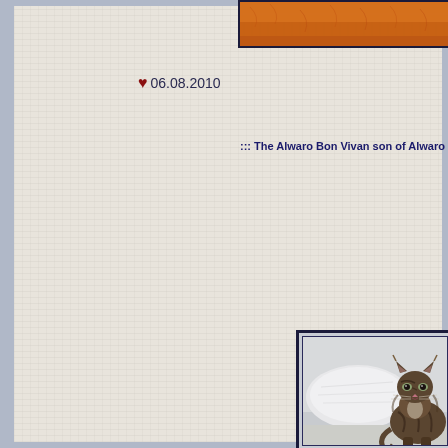[Figure (photo): Partial photo of an orange cat on a textured surface, visible at top right corner of page]
❤ 06.08.2010
::: The Alwaro Bon Vivan son of Alwaro Pra...
[Figure (photo): Maine Coon tabby cat sitting upright on a white surface, facing camera, with light background and white pillow/cushion visible behind it]